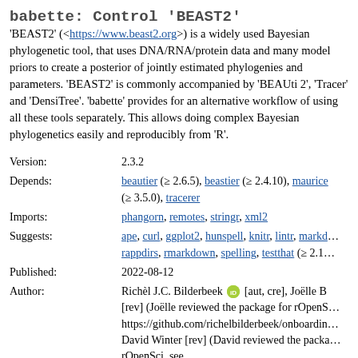babette: Control 'BEAST2'
'BEAST2' (<https://www.beast2.org>) is a widely used Bayesian phylogenetic tool, that uses DNA/RNA/protein data and many model priors to create a posterior of jointly estimated phylogenies and parameters. 'BEAST2' is commonly accompanied by 'BEAUti 2', 'Tracer' and 'DensiTree'. 'babette' provides for an alternative workflow of using all these tools separately. This allows doing complex Bayesian phylogenetics easily and reproducibly from 'R'.
| Version: | 2.3.2 |
| Depends: | beautier (≥ 2.6.5), beastier (≥ 2.4.10), mauricer (≥ 3.5.0), tracerer |
| Imports: | phangorn, remotes, stringr, xml2 |
| Suggests: | ape, curl, ggplot2, hunspell, knitr, lintr, markd… rappdirs, rmarkdown, spelling, testthat (≥ 2.1… |
| Published: | 2022-08-12 |
| Author: | Richèl J.C. Bilderbeek [aut, cre], Joëlle B [rev] (Joëlle reviewed the package for rOpenS… https://github.com/richelbilderbeek/onboarding… David Winter [rev] (David reviewed the packa… rOpenSci, see https://github.com/richelbilderbeek/onboardin… |